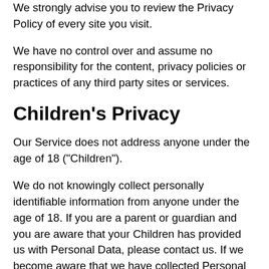We strongly advise you to review the Privacy Policy of every site you visit.
We have no control over and assume no responsibility for the content, privacy policies or practices of any third party sites or services.
Children's Privacy
Our Service does not address anyone under the age of 18 ("Children").
We do not knowingly collect personally identifiable information from anyone under the age of 18. If you are a parent or guardian and you are aware that your Children has provided us with Personal Data, please contact us. If we become aware that we have collected Personal Data from children without